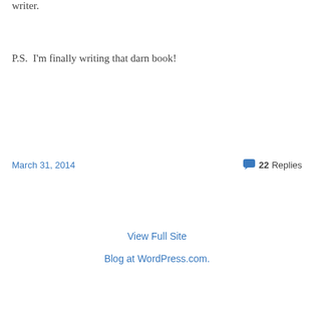writer.
P.S.  I'm finally writing that darn book!
March 31, 2014
22 Replies
View Full Site
Blog at WordPress.com.